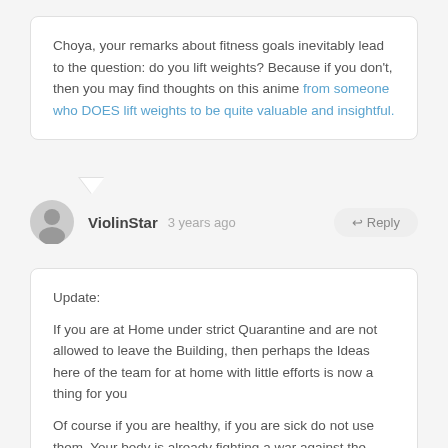Choya, your remarks about fitness goals inevitably lead to the question: do you lift weights? Because if you don't, then you may find thoughts on this anime from someone who DOES lift weights to be quite valuable and insightful.
ViolinStar  3 years ago  ↩ Reply
Update:

If you are at Home under strict Quarantine and are not allowed to leave the Building, then perhaps the Ideas here of the team for at home with little efforts is now a thing for you

Of course if you are healthy, if you are sick do not use them. Your body is already fighting a war against the Virus and thats the Fever